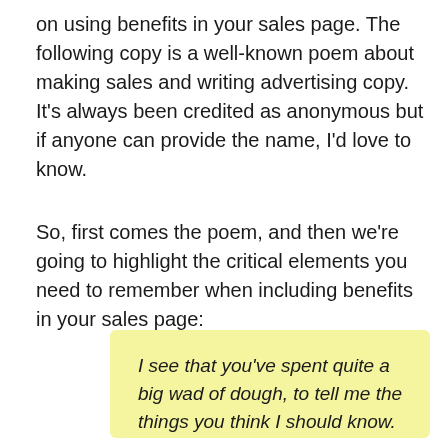on using benefits in your sales page. The following copy is a well-known poem about making sales and writing advertising copy. It's always been credited as anonymous but if anyone can provide the name, I'd love to know.
So, first comes the poem, and then we're going to highlight the critical elements you need to remember when including benefits in your sales page:
I see that you've spent quite a big wad of dough, to tell me the things you think I should know.